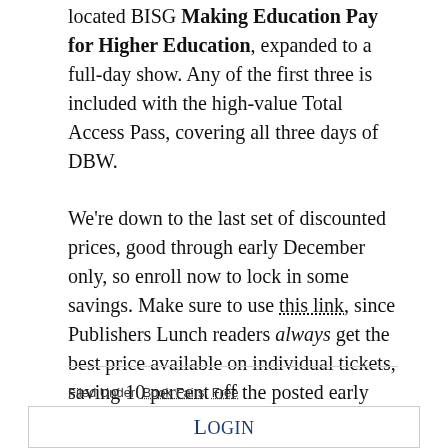located BISG Making Education Pay for Higher Education, expanded to a full-day show. Any of the first three is included with the high-value Total Access Pass, covering all three days of DBW.
We're down to the last set of discounted prices, good through early December only, so enroll now to lock in some savings. Make sure to use this link, since Publishers Lunch readers always get the best price available on individual tickets, saving 10 percent off the posted early prices.
Filed Under: Book Fairs, Free